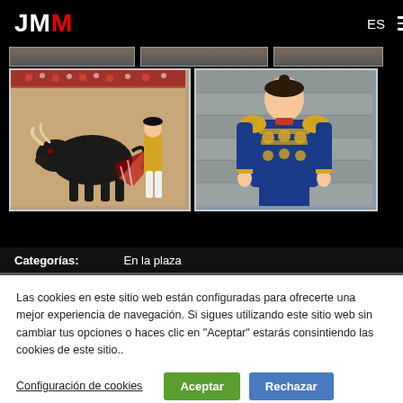JMM  ES ☰
[Figure (photo): Partially visible images in top row of gallery]
[Figure (photo): Bullfighter with bull in arena, matador with red cape]
[Figure (photo): Matador in ornate gold and blue traje de luces costume]
Categorías:    En la plaza
Las cookies en este sitio web están configuradas para ofrecerte una mejor experiencia de navegación. Si sigues utilizando este sitio web sin cambiar tus opciones o haces clic en "Aceptar" estarás consintiendo las cookies de este sitio..
Configuración de cookies
Aceptar
Rechazar